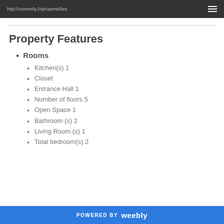http://comerely.24propertellies
Property Features
Rooms
Kitchen(s) 1
Closet
Entrance Hall 1
Number of floors 5
Open Space 1
Bathroom (s) 2
Living Room (s) 1
Total bedroom(s) 2
POWERED BY weebly